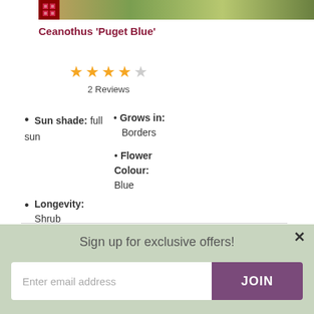[Figure (photo): Partial top image of plant/garden scene, cropped at top]
Ceanothus 'Puget Blue'
[Figure (infographic): 4 out of 5 stars rating with '2 Reviews' text below]
Sun shade: full sun
Grows in: Borders
Flower Colour: Blue
Longevity: Shrub
[Figure (photo): Bottom partial image of green leafy plants]
Sign up for exclusive offers!
Enter email address
JOIN